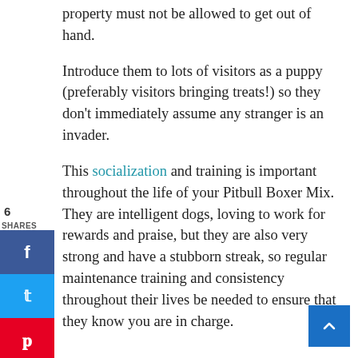property must not be allowed to get out of hand.
Introduce them to lots of visitors as a puppy (preferably visitors bringing treats!) so they don't immediately assume any stranger is an invader.
This socialization and training is important throughout the life of your Pitbull Boxer Mix. They are intelligent dogs, loving to work for rewards and praise, but they are also very strong and have a stubborn streak, so regular maintenance training and consistency throughout their lives be needed to ensure that they know you are in charge.